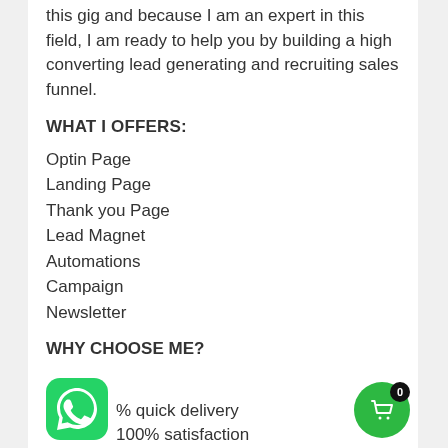this gig and because I am an expert in this field, I am ready to help you by building a high converting lead generating and recruiting sales funnel.
WHAT I OFFERS:
Optin Page
Landing Page
Thank you Page
Lead Magnet
Automations
Campaign
Newsletter
WHY CHOOSE ME?
% quick delivery
100% satisfaction